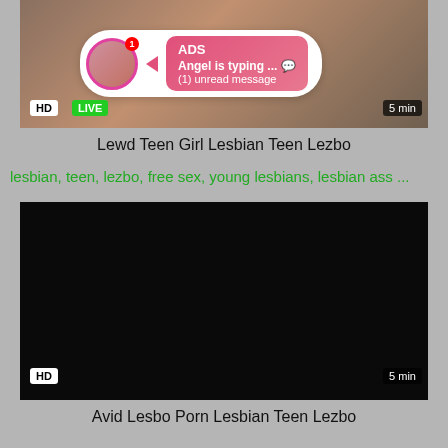[Figure (screenshot): Video thumbnail with HD/LIVE badges and an ad overlay popup showing 'ADS', 'Angel is typing ... 💬', '(1) unread message']
Lewd Teen Girl Lesbian Teen Lezbo
lesbian, teen, lezbo, free sex, young lesbians, lesbian ass ...
[Figure (screenshot): Dark/black video thumbnail with HD badge bottom-left and '5 min' badge bottom-right]
Avid Lesbo Porn Lesbian Teen Lezbo